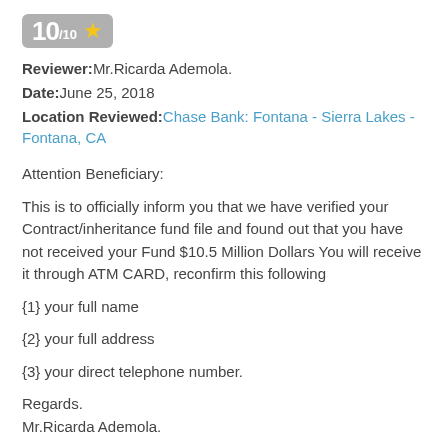[Figure (other): Rating badge showing 10/10 with a gold star]
Reviewer: Mr.Ricarda Ademola.
Date: June 25, 2018
Location Reviewed: Chase Bank: Fontana - Sierra Lakes - Fontana, CA
Attention Beneficiary:
This is to officially inform you that we have verified your Contract/inheritance fund file and found out that you have not received your Fund $10.5 Million Dollars You will receive it through ATM CARD, reconfirm this following
{1} your full name
{2} your full address
{3} your direct telephone number.
Regards.
Mr.Ricarda Ademola.